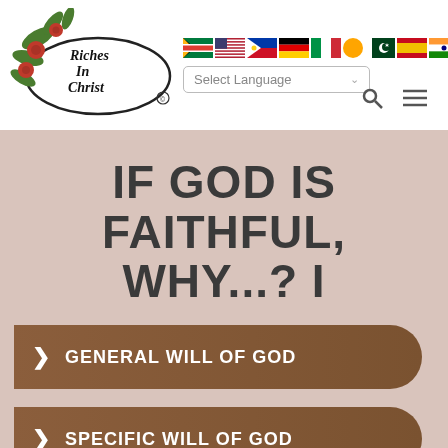[Figure (logo): Riches In Christ logo with red and green floral design and cursive text]
[Figure (screenshot): Row of country flags: South Africa, USA, Philippines, Germany, Italy, Japan, Pakistan, Spain, India]
Select Language
IF GOD IS FAITHFUL, WHY...? I
GENERAL WILL OF GOD
SPECIFIC WILL OF GOD